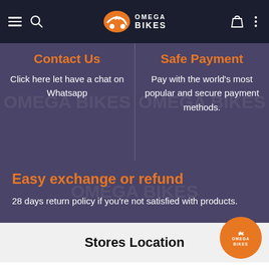Omega Bikes — navigation header with hamburger menu, search, cart, and more icons
Contact Us
Click here let have a chat on Whatsapp
Safe Payment
Pay with the world's most popular and secure payment methods.
Easy exchange or refund
28 days return policy if you're not satisfied with products.
Stores Location